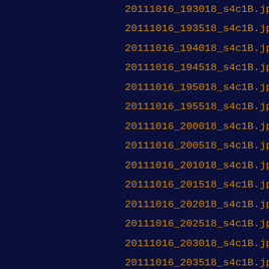20111016_193018_s4c1B.jpg
20111016_193518_s4c1B.jpg
20111016_194018_s4c1B.jpg
20111016_194518_s4c1B.jpg
20111016_195018_s4c1B.jpg
20111016_195518_s4c1B.jpg
20111016_200018_s4c1B.jpg
20111016_200518_s4c1B.jpg
20111016_201018_s4c1B.jpg
20111016_201518_s4c1B.jpg
20111016_202018_s4c1B.jpg
20111016_202518_s4c1B.jpg
20111016_203018_s4c1B.jpg
20111016_203518_s4c1B.jpg
20111016_204018_s4c1B.jpg
20111016_204518_s4c1B.jpg
20111016_205018_s4c1B.jpg
20111016_205518_s4c1B.jpg
20111016_210018_s4c1B.jpg
20111016_210518_s4c1B.jpg
20111016_211018_s4c1B.jpg
20111016_211518_s4c1B.jpg
20111016_212018_s4c1B.jpg